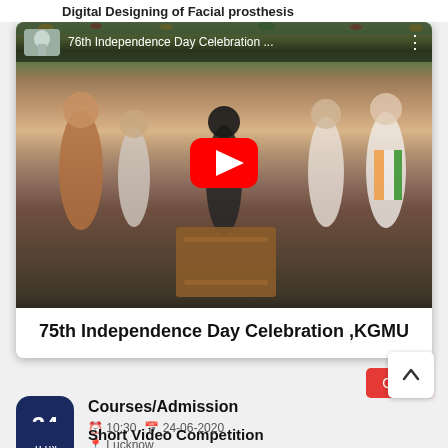Digital Designing of Facial prosthesis
[Figure (screenshot): YouTube video thumbnail showing '76th Independence Day Celebration ...' with people at a podium, featuring a red YouTube play button in the center]
75th Independence Day Celebration ,KGMU
Close
Courses/Admission
10:30   24-06-2020   Lucknow
Short Video Competition